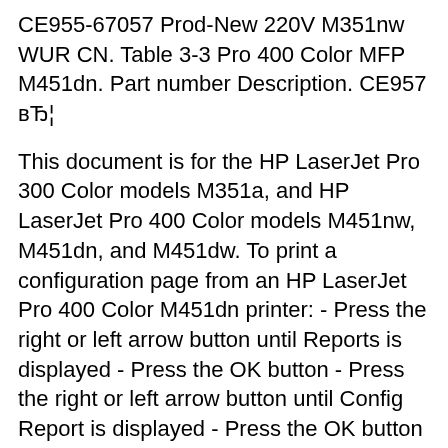CE955-67057 Prod-New 220V M351nw WUR CN. Table 3-3 Pro 400 Color MFP M451dn. Part number Description. CE957 вЂ¦
This document is for the HP LaserJet Pro 300 Color models M351a, and HP LaserJet Pro 400 Color models M451nw, M451dn, and M451dw. To print a configuration page from an HP LaserJet Pro 400 Color M451dn printer: - Press the right or left arrow button until Reports is displayed - Press the OK button - Press the right or left arrow button until Config Report is displayed - Press the OK button To print the network configuration page instead, select Network Summary rather than Config